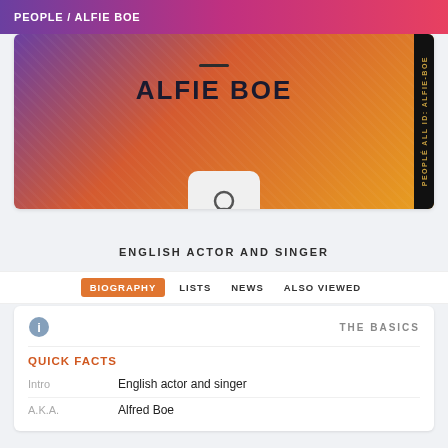PEOPLE / ALFIE BOE
ALFIE BOE
ENGLISH ACTOR AND SINGER
BIOGRAPHY  LISTS  NEWS  ALSO VIEWED
THE BASICS
QUICK FACTS
| Field | Value |
| --- | --- |
| Intro | English actor and singer |
| A.K.A. | Alfred Boe |